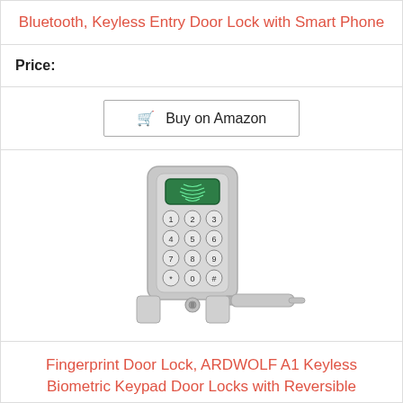Bluetooth, Keyless Entry Door Lock with Smart Phone
Price:
Buy on Amazon
[Figure (photo): Photo of a silver fingerprint and keypad door lock with lever handle. The lock features a numeric keypad (1-9, *, 0, #), a fingerprint scanner at the top with green window, and a key cylinder at the bottom of the keypad unit. The lever handle extends to the right.]
Fingerprint Door Lock, ARDWOLF A1 Keyless Biometric Keypad Door Locks with Reversible